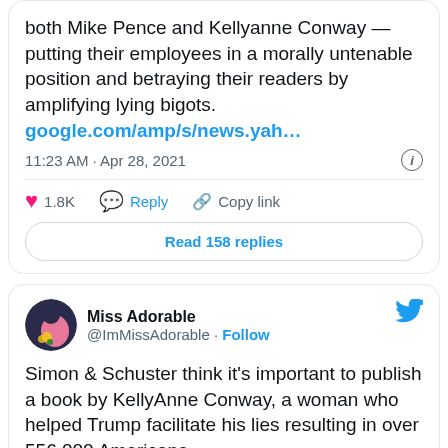[Figure (screenshot): Top portion of a tweet showing text about Mike Pence and Kellyanne Conway, with a link to google.com/amp/s/news.yah..., timestamp 11:23 AM Apr 28, 2021, 1.8K likes, Reply, Copy link actions, and Read 158 replies button]
[Figure (screenshot): Tweet by Miss Adorable (@ImMissAdorable) with Follow button and Twitter bird logo, text starting: Simon & Schuster think it's important to publish a book by KellyAnne Conway, a woman who helped Trump facilitate his lies resulting in over 556,000 Americans]